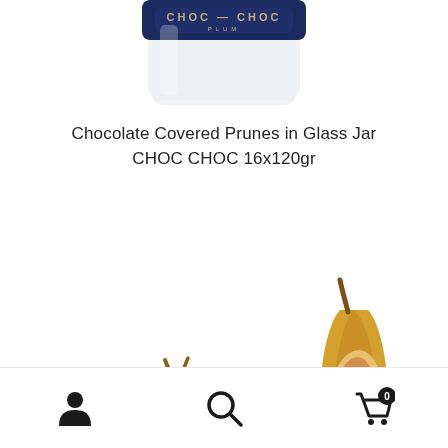[Figure (photo): Top portion of a glass jar with dark navy blue lid showing CHOC CHOC PLUM branding text in gold/white lettering]
Chocolate Covered Prunes in Glass Jar CHOC CHOC 16x120gr
[Figure (photo): Close-up product photo showing dried figs and chocolate covered prunes/figs with dark chocolate coating on white background]
[Figure (infographic): Bottom navigation bar with user account icon, search icon, and shopping cart icon with badge showing 0]